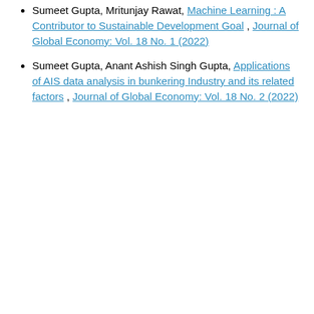Sumeet Gupta, Mritunjay Rawat, Machine Learning : A Contributor to Sustainable Development Goal , Journal of Global Economy: Vol. 18 No. 1 (2022)
Sumeet Gupta, Anant Ashish Singh Gupta, Applications of AIS data analysis in bunkering Industry and its related factors , Journal of Global Economy: Vol. 18 No. 2 (2022)